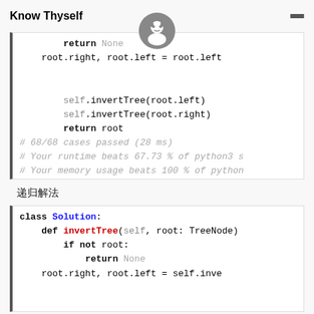Know Thyself
return None
        root.right, root.left = root.left

        self.invertTree(root.left)
        self.invertTree(root.right)
        return root
# 68/68 cases passed (28 ms)
# Your runtime beats 67.73 % of python3 s
# Your memory usage beats 100 % of python
递归解法
class Solution:
    def invertTree(self, root: TreeNode)
        if not root:
            return None
        root.right, root.left = self.inve